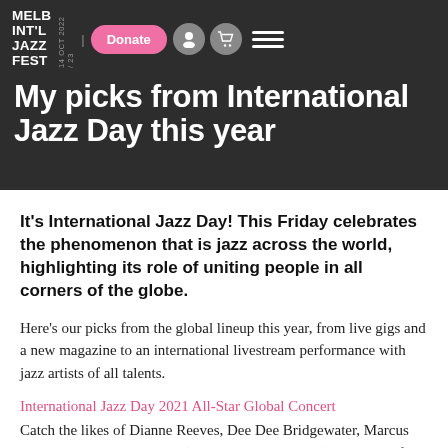MELB INT'L JAZZ FEST | 14 OCT 2022 / 23
My picks from International Jazz Day this year
It's International Jazz Day! This Friday celebrates the phenomenon that is jazz across the world, highlighting its role of uniting people in all corners of the globe.
Here's our picks from the global lineup this year, from live gigs and a new magazine to an international livestream performance with jazz artists of all talents.
International Jazz Day 2021 All-Star Global Concert
Catch the likes of Dianne Reeves, Dee Dee Bridgewater, Marcus Miller and Melissa Aldana (plus many, many more) as they perform in the official 2021 All-Star Global Concert for International Jazz Day. The concert will stream live on jazzday.com from 7am AEST, with